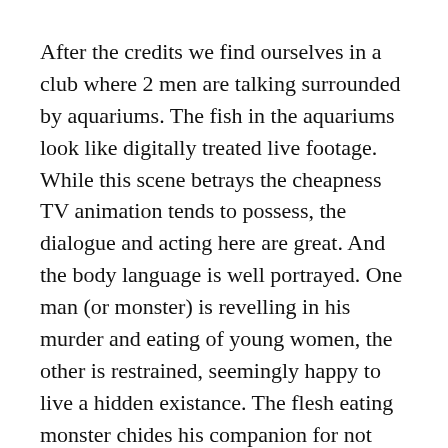After the credits we find ourselves in a club where 2 men are talking surrounded by aquariums. The fish in the aquariums look like digitally treated live footage. While this scene betrays the cheapness TV animation tends to possess, the dialogue and acting here are great. And the body language is well portrayed. One man (or monster) is revelling in his murder and eating of young women, the other is restrained, seemingly happy to live a hidden existance. The flesh eating monster chides his companion for not giving into these urges. However it turns out he has been set up.